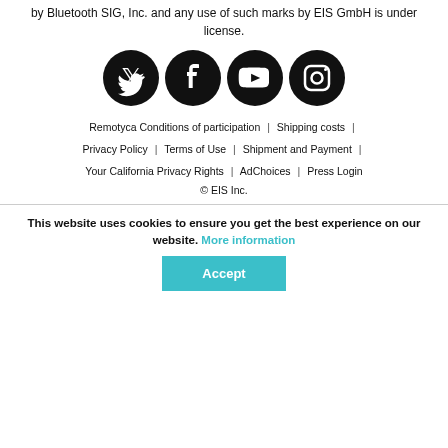by Bluetooth SIG, Inc. and any use of such marks by EIS GmbH is under license.
[Figure (illustration): Four social media icons (Twitter, Facebook, YouTube, Instagram) as white icons on black circles.]
Remotyca Conditions of participation | Shipping costs | Privacy Policy | Terms of Use | Shipment and Payment | Your California Privacy Rights | AdChoices | Press Login
© EIS Inc.
This website uses cookies to ensure you get the best experience on our website. More information
Accept